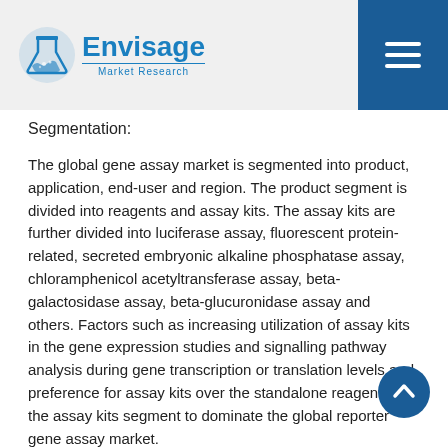Envisage Market Research
Segmentation:
The global gene assay market is segmented into product, application, end-user and region. The product segment is divided into reagents and assay kits. The assay kits are further divided into luciferase assay, fluorescent protein-related, secreted embryonic alkaline phosphatase assay, chloramphenicol acetyltransferase assay, beta-galactosidase assay, beta-glucuronidase assay and others. Factors such as increasing utilization of assay kits in the gene expression studies and signalling pathway analysis during gene transcription or translation levels and preference for assay kits over the standalone reagents, led the assay kits segment to dominate the global reporter gene assay market.
The end user is segmented into academic and research institutes and commercial, and this end user segment...